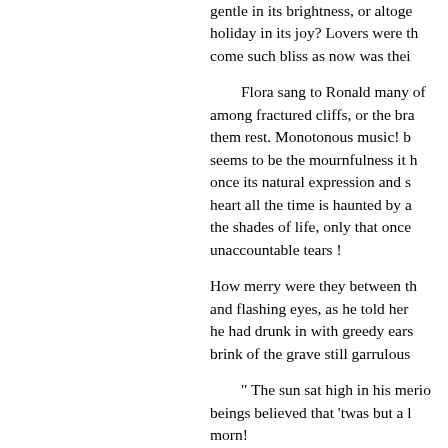gentle in its brightness, or altogether holiday in its joy? Lovers were the come such bliss as now was their
Flora sang to Ronald many of among fractured cliffs, or the bra them rest. Monotonous music! b seems to be the mournfulness it h once its natural expression and s heart all the time is haunted by a the shades of life, only that once unaccountable tears !
How merry were they between th and flashing eyes, as he told her he had drunk in with greedy ears brink of the grave still garrulous
" The sun sat high in his merio beings believed that 'twas but a l morn!
The boy starts to his feet, and his deer-stalkers, and the passion of driven, or sullenly astray, slowly then away—away! The rifle-shot aloft, struck by a certain but no